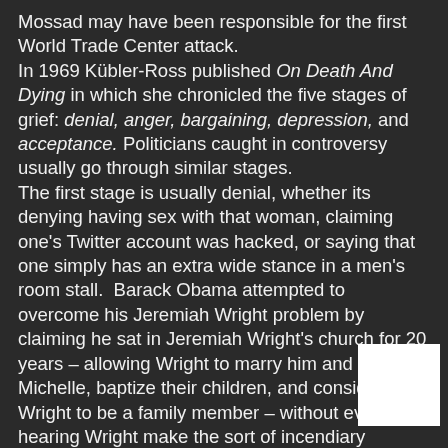Mossad may have been responsible for the first World Trade Center attack. In 1969 Kübler-Ross published On Death And Dying in which she chronicled the five stages of grief: denial, anger, bargaining, depression, and acceptance. Politicians caught in controversy usually go through similar stages. The first stage is usually denial, whether its denying having sex with that woman, claiming one's Twitter account was hacked, or saying that one simply has an extra wide stance in a men's room stall.  Barack Obama attempted to overcome his Jeremiah Wright problem by claiming he sat in Jeremiah Wright's church for 20 years – allowing Wright to marry him and Michelle, baptize their children, and consider Wright to be a family member – without ever hearing Wright make the sort of incendiary remarks.